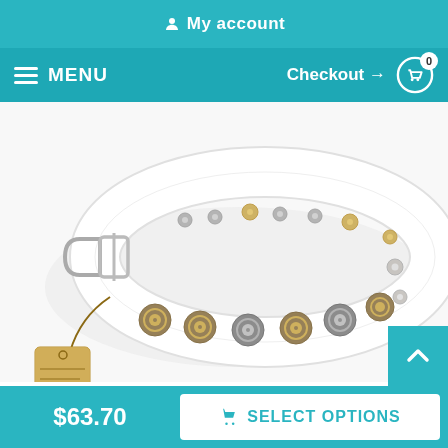My account
≡ MENU   Checkout → 🛒 0
[Figure (photo): White leather dog collar with decorative bronze/silver circular studs and a metal buckle, shown coiled with a paper hang tag attached]
$63.70
SELECT OPTIONS